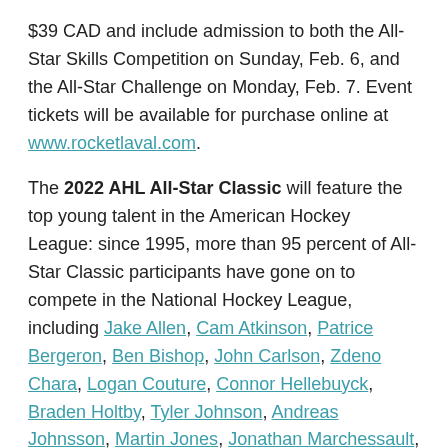$39 CAD and include admission to both the All-Star Skills Competition on Sunday, Feb. 6, and the All-Star Challenge on Monday, Feb. 7. Event tickets will be available for purchase online at www.rocketlaval.com.
The 2022 AHL All-Star Classic will feature the top young talent in the American Hockey League: since 1995, more than 95 percent of All-Star Classic participants have gone on to compete in the National Hockey League, including Jake Allen, Cam Atkinson, Patrice Bergeron, Ben Bishop, John Carlson, Zdeno Chara, Logan Couture, Connor Hellebuyck, Braden Holtby, Tyler Johnson, Andreas Johnsson, Martin Jones, Jonathan Marchessault, Brandon Montour, Kyle Palmieri, Zach Parise, Mikko Rantanen, Jason Spezza, Dylan Strome, P.K. Subban and Mats Zuccarello.